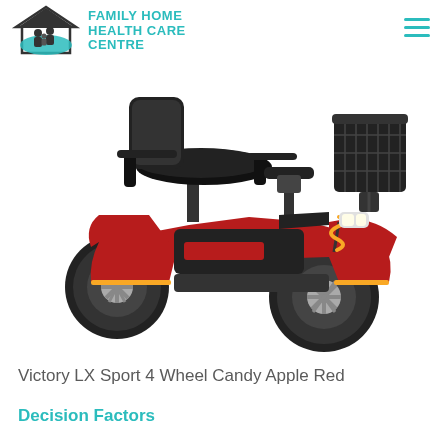FAMILY HOME HEALTH CARE CENTRE
[Figure (photo): Victory LX Sport 4-wheel mobility scooter in Candy Apple Red color, shown from a three-quarter front view. The scooter has a large black seat with armrests, a rear basket, front headlight, yellow coil spring suspension, four large black tires with gray spoke wheels, and a red body with black accents.]
Victory LX Sport 4 Wheel Candy Apple Red
Decision Factors